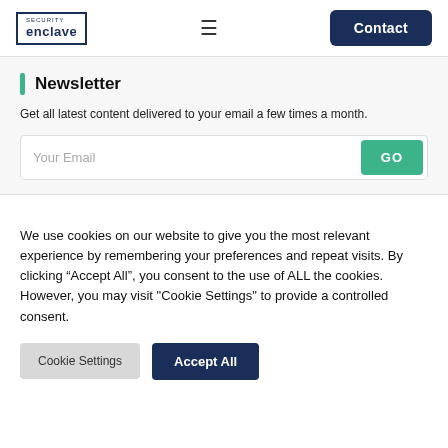enclave | Contact
Newsletter
Get all latest content delivered to your email a few times a month.
Your Email [GO]
We use cookies on our website to give you the most relevant experience by remembering your preferences and repeat visits. By clicking “Accept All”, you consent to the use of ALL the cookies. However, you may visit "Cookie Settings" to provide a controlled consent.
Cookie Settings | Accept All